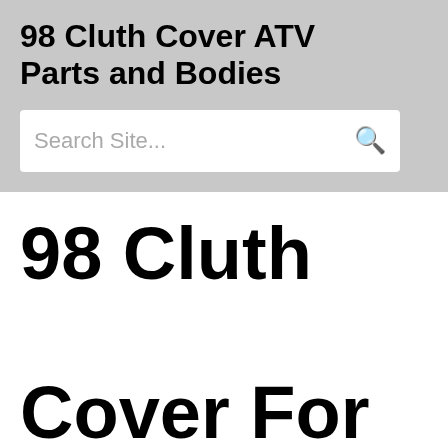98 Cluth Cover ATV Parts and Bodies
Search Site...
98 Cluth Cover For